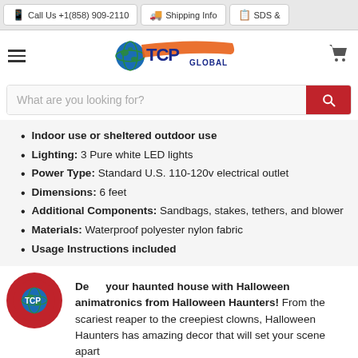Call Us +1(858) 909-2110 | Shipping Info | SDS &
[Figure (logo): TCP Global logo with globe icon, orange swoosh, blue TCP text, and GLOBAL text]
What are you looking for?
Indoor use or sheltered outdoor use
Lighting: 3 Pure white LED lights
Power Type: Standard U.S. 110-120v electrical outlet
Dimensions: 6 feet
Additional Components: Sandbags, stakes, tethers, and blower
Materials: Waterproof polyester nylon fabric
Usage Instructions included
Decorate your haunted house with Halloween animatronics from Halloween Haunters! From the scariest reaper to the creepiest clowns, Halloween Haunters has amazing decor that will set your scene apart